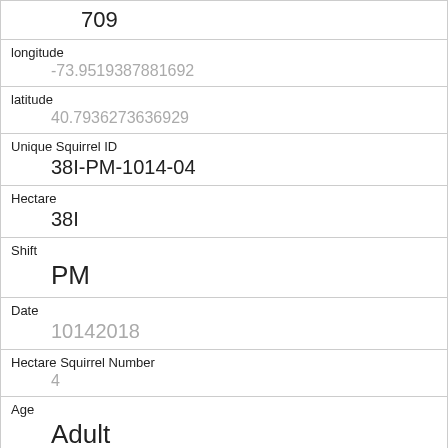| 709 |
| longitude | -73.9519387881692 |
| latitude | 40.7936273636929 |
| Unique Squirrel ID | 38I-PM-1014-04 |
| Hectare | 38I |
| Shift | PM |
| Date | 10142018 |
| Hectare Squirrel Number | 4 |
| Age | Adult |
| Primary Fur Color | Gray |
| Highlight Fur Color |  |